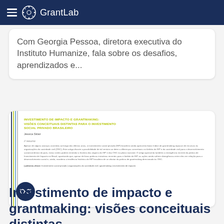GrantLab
Com Georgia Pessoa, diretora executiva do Instituto Humanize, fala sobre os desafios, aprendizados e...
[Figure (screenshot): Document thumbnail showing academic paper titled 'Investimento de Impacto e Grantmaking: Visões Conceituais Distintas para o Investimento Social Privado Brasileiro' by Jéssica Sklair with abstract and keywords visible, and colored vertical lines on left side with a dark blue glasses icon circle]
Investimento de impacto e grantmaking: visões conceituais distintas